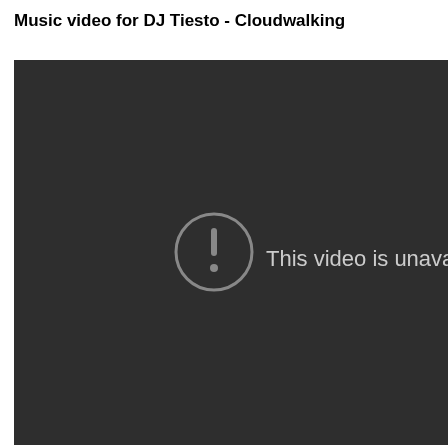Music video for DJ Tiesto - Cloudwalking
[Figure (screenshot): A dark video player showing an unavailable video message. A circular exclamation mark icon appears on the left, and the text 'This video is unavailab' (truncated) appears in light gray on the right, all on a dark charcoal background.]